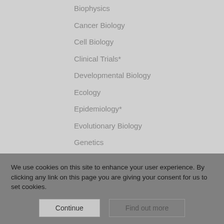Biophysics
Cancer Biology
Cell Biology
Clinical Trials*
Developmental Biology
Ecology
Epidemiology*
Evolutionary Biology
Genetics
Genomics
Immunology
Microbiology
We use cookies on this site to enhance your user experience. By clicking any link on this page you are giving your consent for us to set cookies.
Continue
Find out more